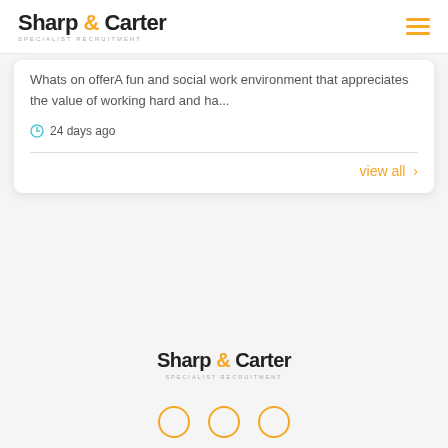Sharp & Carter SPECIALIST RECRUITMENT
Whats on offerA fun and social work environment that appreciates the value of working hard and ha...
24 days ago
view all >
[Figure (logo): Sharp & Carter Specialist Recruitment logo centered at bottom of page]
[Figure (other): Three orange circle social media icon outlines at bottom of page]